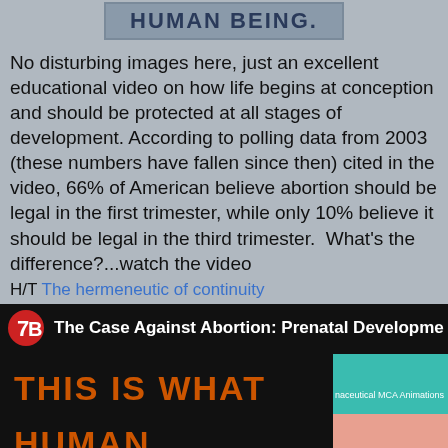[Figure (screenshot): Banner image with dark blue text reading 'HUMAN BEING.' on a grayish background]
No disturbing images here, just an excellent educational video on how life begins at conception and should be protected at all stages of development. According to polling data from 2003 (these numbers have fallen since then) cited in the video, 66% of American believe abortion should be legal in the first trimester, while only 10% believe it should be legal in the third trimester.  What's the difference?...watch the video
H/T The hermeneutic of continuity
[Figure (screenshot): Video thumbnail showing 'The Case Against Abortion: Prenatal Development' with a logo, text 'THIS IS WHAT HUMAN BEINGS LOOK' in orange on black, and a right panel with teal background and biological imagery]